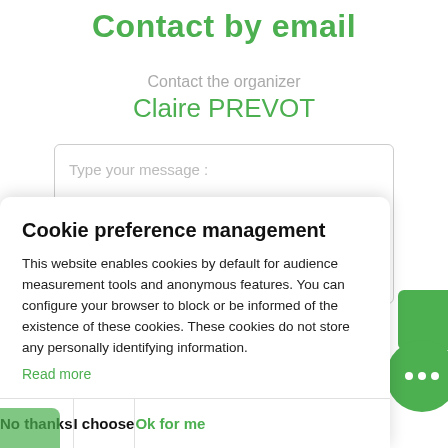Contact by email
Contact the organizer
Claire PREVOT
[Figure (screenshot): A text area input box with placeholder text 'Type your message :']
Cookie preference management
This website enables cookies by default for audience measurement tools and anonymous features. You can configure your browser to block or be informed of the existence of these cookies. These cookies do not store any personally identifying information.
Read more
No thanks
I choose
Ok for me